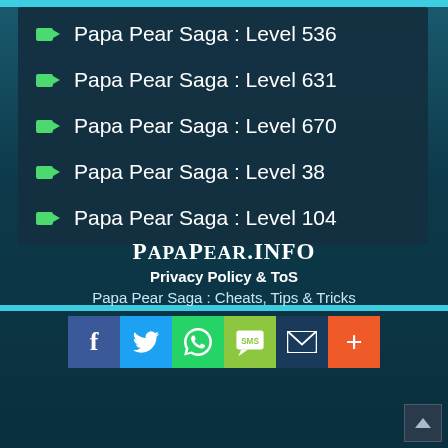Papa Pear Saga : Level 536
Papa Pear Saga : Level 631
Papa Pear Saga : Level 670
Papa Pear Saga : Level 38
Papa Pear Saga : Level 104
PapaPear.info
Privacy Policy & ToS
Papa Pear Saga : Cheats, Tips & Tricks